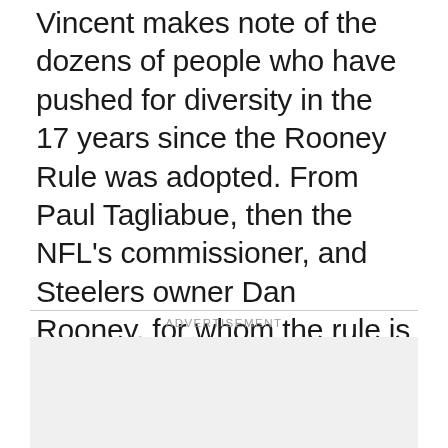Vincent makes note of the dozens of people who have pushed for diversity in the 17 years since the Rooney Rule was adopted. From Paul Tagliabue, then the NFL's commissioner, and Steelers owner Dan Rooney, for whom the rule is named, to other team owners such as Atlanta's Arthur Blank, Philadelphia's Jeffrey Lurie, Denver's Pat Bowlen, the Rams' Stan Kroenke, and such Hall of Fame members as Paul Brown, Wellington Mara, Al Davis and Lamar Hunt who were open to diversity throughout their tenures.
ADVERTISEMENT
[Figure (other): Advertisement placeholder box, light grey background]